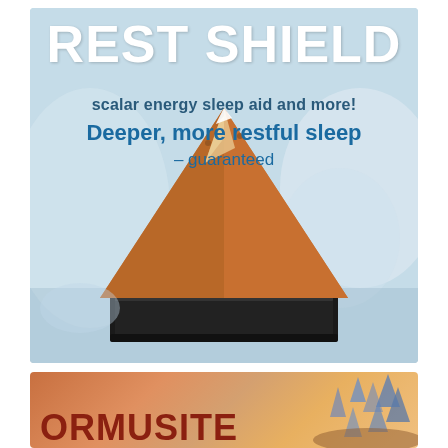[Figure (illustration): Advertisement for REST SHIELD product — a copper pyramid-shaped scalar energy sleep aid device sitting on a black rectangular base, shown against a soft blue bedroom background. Text overlay reads: REST SHIELD, scalar energy sleep aid and more!, Deeper, more restful sleep – guaranteed]
[Figure (illustration): Partial advertisement for ORMUSITE product, showing warm orange-brown gradient background with crystals/minerals and large bold red text reading ORMUSITE at the bottom.]